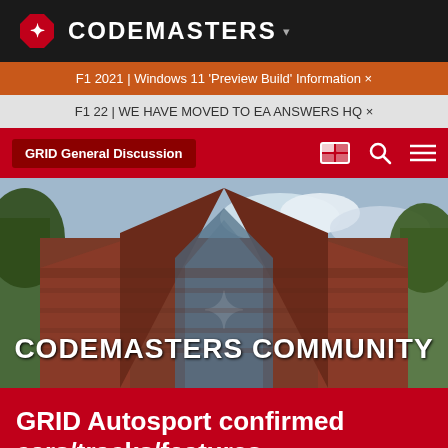CODEMASTERS
F1 2021 | Windows 11 'Preview Build' Information ×
F1 22 | WE HAVE MOVED TO EA ANSWERS HQ ×
GRID General Discussion
[Figure (photo): Codemasters Community building exterior – a brick building with distinctive angular glass window, trees visible on sides, with 'CODEMASTERS COMMUNITY' text overlay]
GRID Autosport confirmed cars/tracks/features